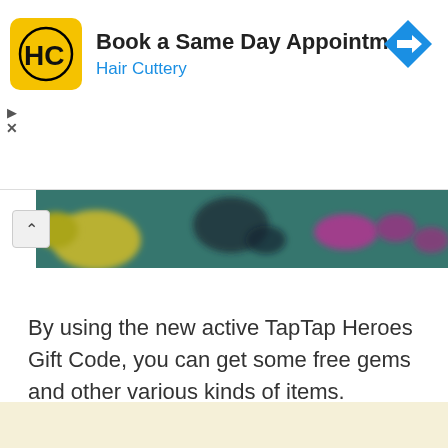[Figure (screenshot): Advertisement banner for Hair Cuttery with logo (HC in black circle on yellow background), headline 'Book a Same Day Appointment', subtitle 'Hair Cuttery' in blue, and a blue navigation arrow icon on the right. Play and close controls visible on left side.]
[Figure (photo): Blurred/cropped photo showing what appears to be a colorful outdoor scene with yellow, pink/magenta spots on a teal/blue-green surface.]
By using the new active TapTap Heroes Gift Code, you can get some free gems and other various kinds of items.